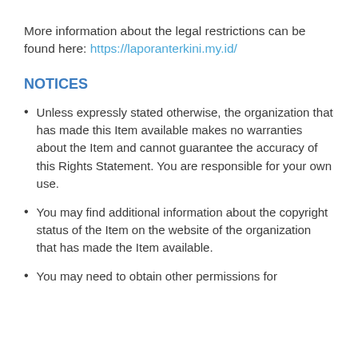More information about the legal restrictions can be found here: https://laporanterkini.my.id/
NOTICES
Unless expressly stated otherwise, the organization that has made this Item available makes no warranties about the Item and cannot guarantee the accuracy of this Rights Statement. You are responsible for your own use.
You may find additional information about the copyright status of the Item on the website of the organization that has made the Item available.
You may need to obtain other permissions for